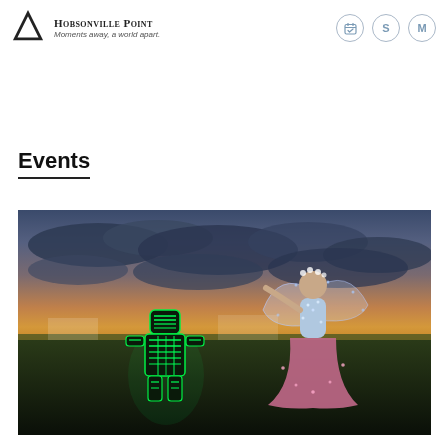Hobsonville Point — Moments away, a world apart.
Hobsonville Point Winterfest 2020
Events
[Figure (photo): Outdoor night event photo at dusk showing two performers: one in a glowing green LED robot costume and another tall performer dressed as a fairy with a large pink skirt and illuminated wings, against a dramatic sunset sky.]